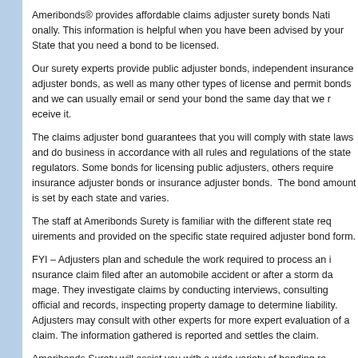Ameribonds® provides affordable claims adjuster surety bonds Nationally. This information is helpful when you have been advised by your State that you need a bond to be licensed.
Our surety experts provide public adjuster bonds, independent insurance adjuster bonds, as well as many other types of license and permit bonds and we can usually email or send your bond the same day that we receive it.
The claims adjuster bond guarantees that you will comply with state laws and do business in accordance with all rules and regulations of the state regulators. Some bonds for licensing public adjusters, others require insurance adjuster bonds or insurance adjuster bonds. The bond amount is set by each state and varies.
The staff at Ameribonds Surety is familiar with the different state requirements and provided on the specific state required adjuster bond form.
FYI – Adjusters plan and schedule the work required to process an insurance claim filed after an automobile accident or after a storm damage. They investigate claims by conducting interviews, consulting official and records, inspecting property damage to determine liability. Adjusters may consult with other experts for more expert evaluation of a claim. The information gathered is reported and settles the claim.
Ameribonds Surety will assist you with a wide variety of bonding requirements and are familiar with the many adjuster bonds you need. Most can be purchased upon request. Credit card payment is accepted.